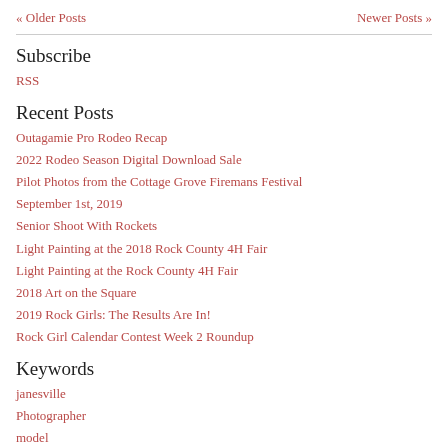« Older Posts    Newer Posts »
Subscribe
RSS
Recent Posts
Outagamie Pro Rodeo Recap
2022 Rodeo Season Digital Download Sale
Pilot Photos from the Cottage Grove Firemans Festival
September 1st, 2019
Senior Shoot With Rockets
Light Painting at the 2018 Rock County 4H Fair
Light Painting at the Rock County 4H Fair
2018 Art on the Square
2019 Rock Girls: The Results Are In!
Rock Girl Calendar Contest Week 2 Roundup
Keywords
janesville
Photographer
model